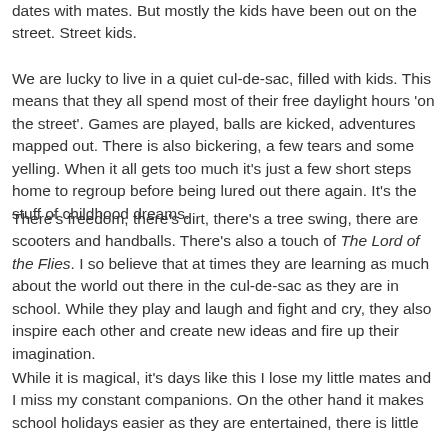dates with mates. But mostly the kids have been out on the street. Street kids.
We are lucky to live in a quiet cul-de-sac, filled with kids. This means that they all spend most of their free daylight hours 'on the street'. Games are played, balls are kicked, adventures mapped out. There is also bickering, a few tears and some yelling. When it all gets too much it's just a few short steps home to regroup before being lured out there again. It's the stuff of childhood dreams.
There's freedom, there's dirt, there's a tree swing, there are scooters and handballs. There's also a touch of The Lord of the Flies. I so believe that at times they are learning as much about the world out there in the cul-de-sac as they are in school. While they play and laugh and fight and cry, they also inspire each other and create new ideas and fire up their imagination.
While it is magical, it's days like this I lose my little mates and I miss my constant companions. On the other hand it makes school holidays easier as they are entertained, there is little asking for the same old same in among as it just to the